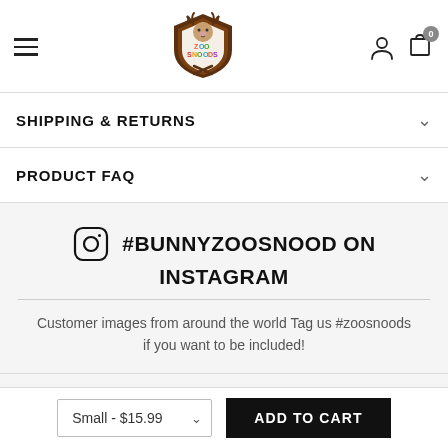[Figure (logo): Zoo Snoods logo with animal character in shield shape and colorful text]
SHIPPING & RETURNS
PRODUCT FAQ
#BUNNYZOOSNOOD ON INSTAGRAM
Customer images from around the world Tag us #zoosnoods if you want to be included!